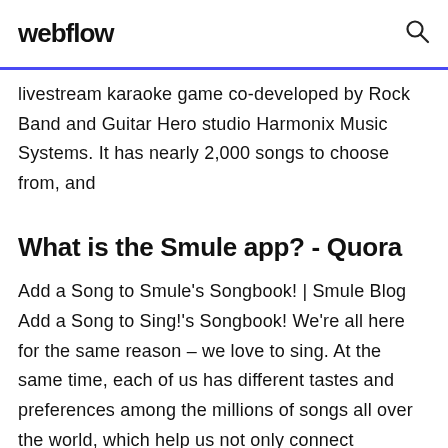webflow
livestream karaoke game co-developed by Rock Band and Guitar Hero studio Harmonix Music Systems. It has nearly 2,000 songs to choose from, and
What is the Smule app? - Quora
Add a Song to Smule's Songbook! | Smule Blog Add a Song to Sing!'s Songbook! We're all here for the same reason – we love to sing. At the same time, each of us has different tastes and preferences among the millions of songs all over the world, which help us not only connect